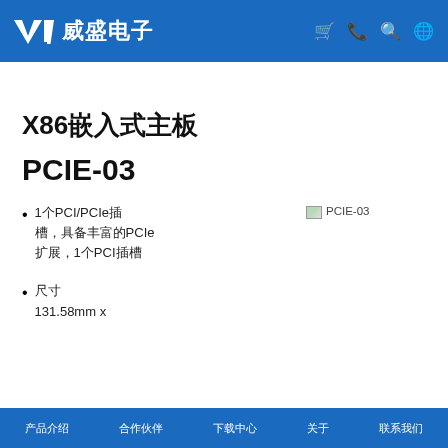VIA 威盛电子
X86嵌入式主板
PCIE-03
1个PCI/PCIe插槽，具备丰富的PCIe扩展，1个PCI插槽
[Figure (photo): PCIE-03 product image placeholder]
尺寸
131.58mm x
产品介绍  合作伙伴  下载中心  关于  联系我们